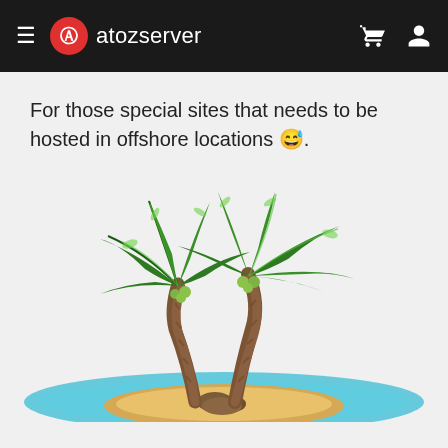atozserver
For those special sites that needs to be hosted in offshore locations 😅.
[Figure (illustration): Cartoon illustration of two palm trees on a small sandy island surrounded by blue water, with coconuts visible among the fronds.]